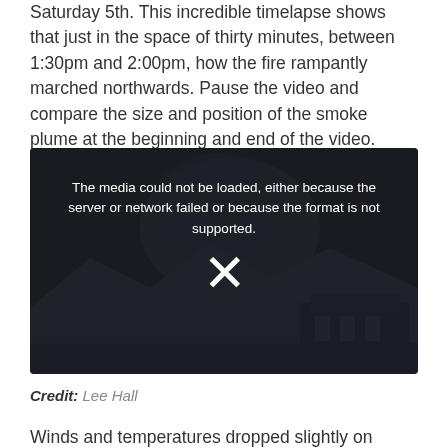Saturday 5th. This incredible timelapse shows that just in the space of thirty minutes, between 1:30pm and 2:00pm, how the fire rampantly marched northwards. Pause the video and compare the size and position of the smoke plume at the beginning and end of the video.
[Figure (screenshot): Video player showing a dark scene with mountains and buildings in background. An error message reads: 'The media could not be loaded, either because the server or network failed or because the format is not supported.' with an X icon below.]
Credit: Lee Hall
Winds and temperatures dropped slightly on Sunday